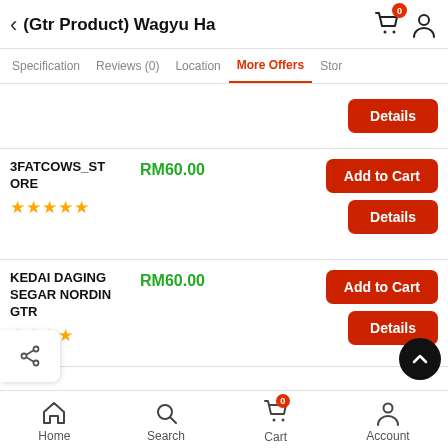(Gtr Product) Wagyu Ha
Specification | Reviews (0) | Location | More Offers | Stor
Details
3FATCOWS_STORE  RM60.00  ★★★★★  Add to Cart  Details
KEDAI DAGING SEGAR NORDIN GTR  RM60.00  ★★★★  Add to Cart  Details
Home  Search  Cart  Account